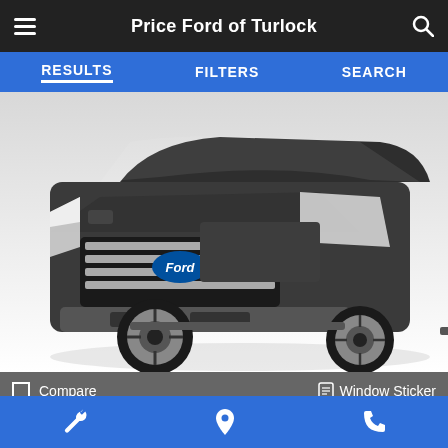Price Ford of Turlock
RESULTS   FILTERS   SEARCH
[Figure (photo): Front three-quarter view of a dark gray Ford F-150 pickup truck on a white background]
Compare   Window Sticker
Ext: Magnetic Metallic
Int: Black
k #: 22581-1
131 mi.
Service icon  Location icon  Phone icon